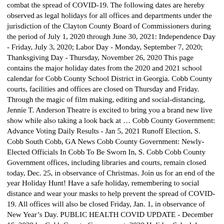combat the spread of COVID-19. The following dates are hereby observed as legal holidays for all offices and departments under the jurisdiction of the Clayton County Board of Commissioners during the period of July 1, 2020 through June 30, 2021: Independence Day - Friday, July 3, 2020; Labor Day - Monday, September 7, 2020; Thanksgiving Day - Thursday, November 26, 2020 This page contains the major holiday dates from the 2020 and 2021 school calendar for Cobb County School District in Georgia. Cobb County courts, facilities and offices are closed on Thursday and Friday. Through the magic of film making, editing and social-distancing, Jennie T. Anderson Theatre is excited to bring you a brand new live show while also taking a look back at … Cobb County Government: Advance Voting Daily Results - Jan 5, 2021 Runoff Election, S. Cobb South Cobb, GA News Cobb County Government: Newly-Elected Officials In Cobb To Be Sworn In, S. Cobb Cobb County Government offices, including libraries and courts, remain closed today, Dec. 25, in observance of Christmas. Join us for an end of the year Holiday Hunt! Have a safe holiday, remembering to social distance and wear your masks to help prevent the spread of COVID-19. All offices will also be closed Friday, Jan. 1, in observance of New Year's Day. PUBLIC HEALTH COVID UPDATE - December 16, 2020 by Cobb County Government. 2020 Holiday Schedule Holiday Observance Date Day of Week New Year's Day January 1, 2020 Wednesday Martin Luther King, Jr. Birthday January 20, 2020 Monday Good Friday April 10, 2020 Friday Memorial Day May 25, 2020 Monday